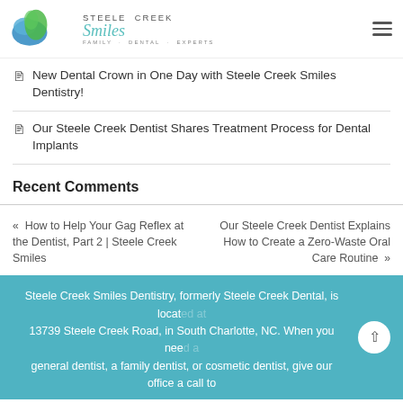[Figure (logo): Steele Creek Smiles Family Dental Experts logo with blue and green swirl icon]
New Dental Crown in One Day with Steele Creek Smiles Dentistry!
Our Steele Creek Dentist Shares Treatment Process for Dental Implants
Recent Comments
How to Help Your Gag Reflex at the Dentist, Part 2 | Steele Creek Smiles
Our Steele Creek Dentist Explains How to Create a Zero-Waste Oral Care Routine
Steele Creek Smiles Dentistry, formerly Steele Creek Dental, is located at 13739 Steele Creek Road, in South Charlotte, NC. When you need a general dentist, a family dentist, or cosmetic dentist, give our office a call to